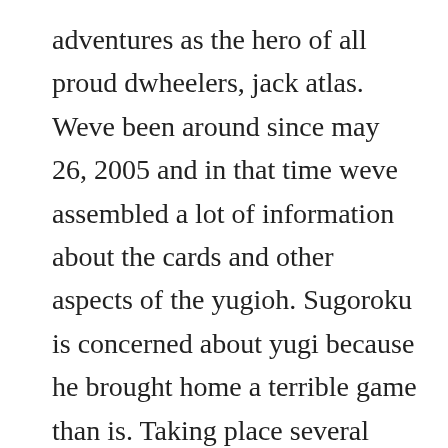adventures as the hero of all proud dwheelers, jack atlas. Weve been around since may 26, 2005 and in that time weve assembled a lot of information about the cards and other aspects of the yugioh. Sugoroku is concerned about yugi because he brought home a terrible game than is. Taking place several years after the previous yu gi oh. Taking place several years after the previous yugioh. Remise exceptionnelle sur les chaussures nike shox tl pour homme. Zexal season 1 episode 20 roots of the problem duration. Leon, the greatest of